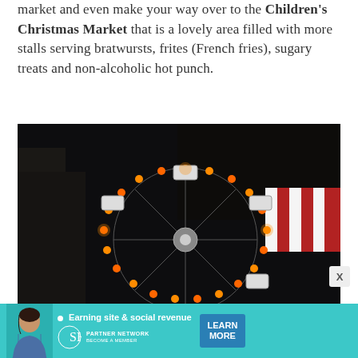market and even make your way over to the Children's Christmas Market that is a lovely area filled with more stalls serving bratwursts, frites (French fries), sugary treats and non-alcoholic hot punch.
[Figure (photo): Nighttime photo of an illuminated Ferris wheel or carnival ride with warm orange/yellow lights arranged in a circular pattern, against a dark sky background. Red and white striped tent or canopy visible on the right side.]
[Figure (other): Advertisement banner for SHE Media Partner Network. Teal/cyan background with a woman's photo on the left, tagline 'Earning site & social revenue', SHE Media logo, and a blue 'LEARN MORE' button. Text includes 'PARTNER NETWORK' and 'BECOME A MEMBER'.]